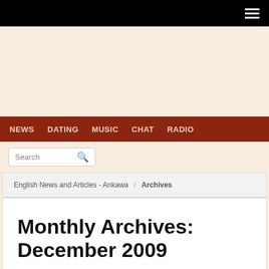NEWS   DATING   MUSIC   CHAT   RADIO
Search
English News and Articles - Ankawa / Archives
Monthly Archives: December 2009